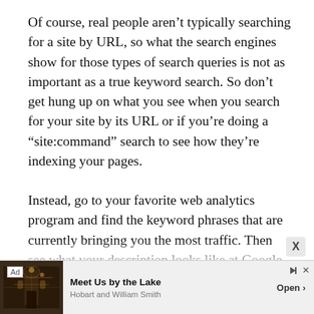Of course, real people aren't typically searching for a site by URL, so what the search engines show for those types of search queries is not as important as a true keyword search. So don't get hung up on what you see when you search for your site by its URL or if you're doing a “site:command” search to see how they're indexing your pages.
Instead, go to your favorite web analytics program and find the keyword phrases that are currently bringing you the most traffic. Then see what your description looks like at Google when you type in those keywords.
[Figure (other): Advertisement banner at bottom of page. Shows 'Ad' label, an image of a cathedral interior, text 'Meet Us by the Lake' and 'Hobart and William Smith', with an 'Open >' button. A close X button is in the bottom right corner of the main page.]